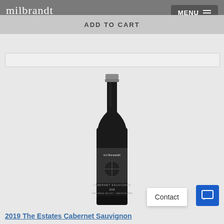milbrandt VINEYARDS
ADD TO CART
[Figure (photo): Dark wine bottle with Milbrandt Vineyards label showing Cabernet Sauvignon 2018, Columbia Valley Washington]
2019 The Estates Cabernet Sauvignon